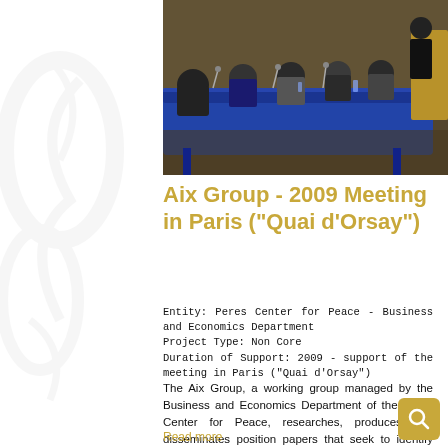[Figure (photo): Group of people seated around a conference table with a blue tablecloth at a formal meeting, with one person standing at a podium in the background.]
Aix Group - 2009 Meeting in Paris ("Quai d'Orsay")
Entity: Peres Center for Peace - Business and Economics Department
Project Type: Non Core
Duration of Support: 2009 - support of the meeting in Paris ("Quai d'Orsay")
The Aix Group, a working group managed by the Business and Economics Department of the Peres Center for Peace, researches, produces and disseminates position papers that seek to identify economic scenarios...
Read more